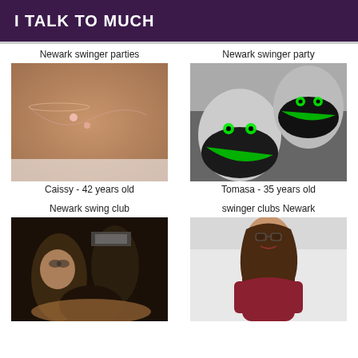I TALK TO MUCH
Newark swinger parties
[Figure (photo): Close-up photo of skin with a necklace, pinkish tones]
Caissy - 42 years old
Newark swinger party
[Figure (photo): Black and white photo of two people wearing green skull masks, selfie style]
Tomasa - 35 years old
Newark swing club
[Figure (photo): Dark photo of people at a club or party scene]
swinger clubs Newark
[Figure (photo): Woman in red top smiling, standing against white wall]